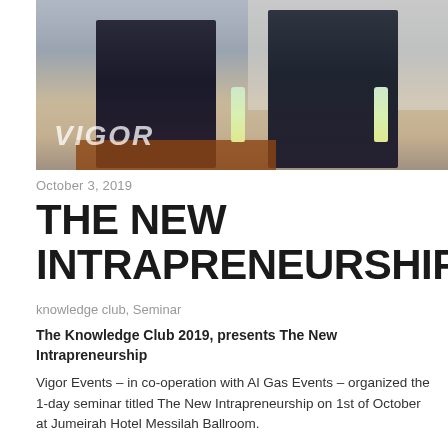[Figure (photo): Two men in suits standing at a conference or seminar, with a projection screen in the background. A VIGOR watermark is visible in the lower left of the photo.]
October 3, 2019
THE NEW INTRAPRENEURSHIP
knowledge club, Seminar
The Knowledge Club 2019, presents The New Intrapreneurship
Vigor Events – in co-operation with Al Gas Events – organized the 1-day seminar titled The New Intrapreneurship on 1st of October at Jumeirah Hotel Messilah Ballroom.